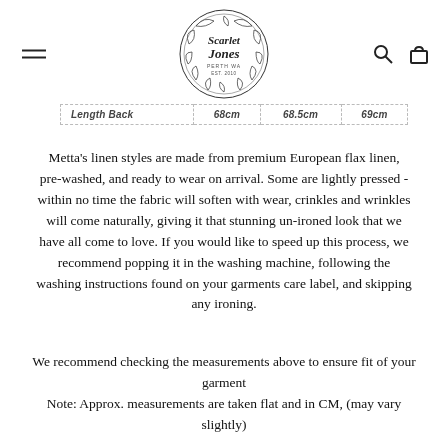[Figure (logo): Scarlet Jones brand logo — circular wreath illustration with script text 'Scarlet Jones' inside]
| Length Back | 68cm | 68.5cm | 69cm |
| --- | --- | --- | --- |
Metta's linen styles are made from premium European flax linen, pre-washed, and ready to wear on arrival. Some are lightly pressed - within no time the fabric will soften with wear, crinkles and wrinkles will come naturally, giving it that stunning un-ironed look that we have all come to love. If you would like to speed up this process, we recommend popping it in the washing machine, following the washing instructions found on your garments care label, and skipping any ironing.
We recommend checking the measurements above to ensure fit of your garment
Note: Approx. measurements are taken flat and in CM, (may vary slightly)